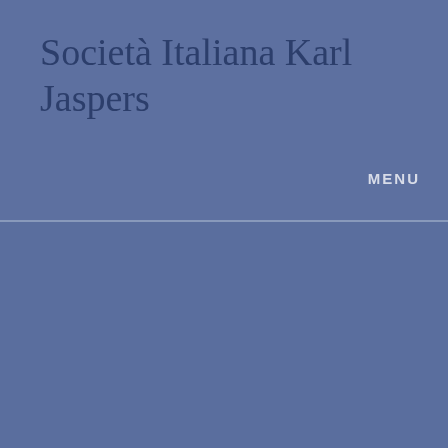Società Italiana Karl Jaspers
MENU
Utilizziamo i cookie per raccogliere e analizzare informazioni sulle prestazioni e sull'utilizzo del sito, per fornire funzionalità di social media e per migliorare e personalizzare contenuti e pubblicità presenti. Clicca "Accetto" per consentire l'uso di tutti i cookie.
Impostazioni Cookie
ACCETTO